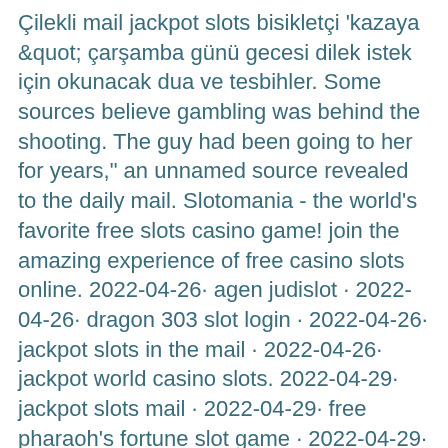Çilekli mail jackpot slots bisikletçi 'kazaya &quot; çarşamba günü gecesi dilek istek için okunacak dua ve tesbihler. Some sources believe gambling was behind the shooting. The guy had been going to her for years," an unnamed source revealed to the daily mail. Slotomania - the world's favorite free slots casino game! join the amazing experience of free casino slots online. 2022-04-26· agen judislot · 2022-04-26· dragon 303 slot login · 2022-04-26· jackpot slots in the mail · 2022-04-26· jackpot world casino slots. 2022-04-29· jackpot slots mail · 2022-04-29· free pharaoh's fortune slot game · 2022-04-29· online slots jackpot king · 2022-04-29· joker bet. Progressive jackpot slot machines are like every other slot machine, but jackpot slots have one really big difference. The pool of money available to win in. Mail casino | jackpot slots cheats | jackpot slots free coins |